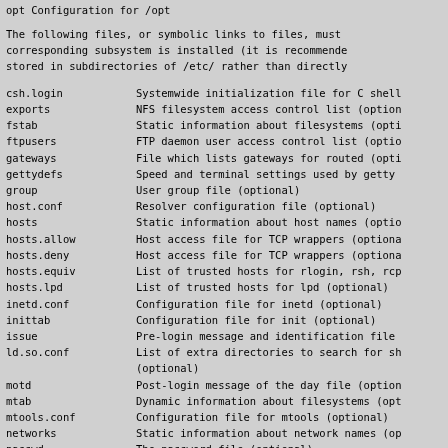opt      Configuration for /opt
The following files, or symbolic links to files, must corresponding subsystem is installed (it is recommende stored in subdirectories of /etc/ rather than directly
csh.login   Systemwide initialization file for C shell
exports     NFS filesystem access control list (option
fstab       Static information about filesystems (opti
ftpusers    FTP daemon user access control list (optio
gateways    File which lists gateways for routed (opti
gettydefs   Speed and terminal settings used by getty
group       User group file (optional)
host.conf   Resolver configuration file (optional)
hosts       Static information about host names (optio
hosts.allow Host access file for TCP wrappers (optiona
hosts.deny  Host access file for TCP wrappers (optiona
hosts.equiv List of trusted hosts for rlogin, rsh, rcp
hosts.lpd   List of trusted hosts for lpd (optional)
inetd.conf  Configuration file for inetd (optional)
inittab     Configuration file for init (optional)
issue       Pre-login message and identification file
ld.so.conf  List of extra directories to search for sh (optional)
motd        Post-login message of the day file (option
mtab        Dynamic information about filesystems (opt
mtools.conf Configuration file for mtools (optional)
networks    Static information about network names (op
passwd      The password file (optional)
printcap    The lpd printer capability database (optio